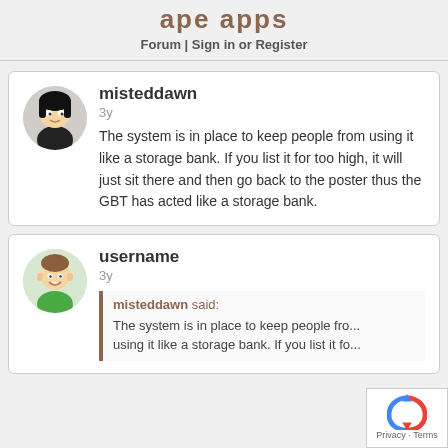username (partial avatar top left)
ape apps
Forum | Sign in or Register
misteddawn
3y
The system is in place to keep people from using it like a storage bank. If you list it for too high, it will just sit there and then go back to the poster thus the GBT has acted like a storage bank.
username
3y
misteddawn said:
The system is in place to keep people fro...
using it like a storage bank. If you list it fo...